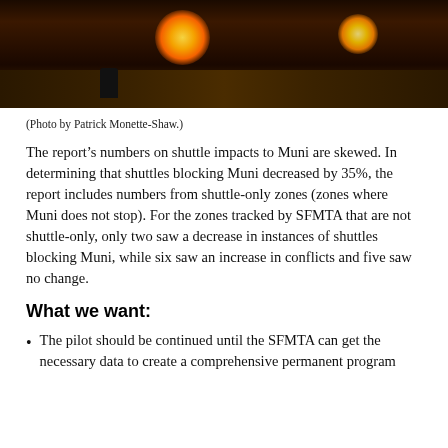[Figure (photo): Nighttime street photo showing bright orange/yellow light glare from traffic signals or vehicle lights on a dark street surface. A person is visible in the lower left area.]
(Photo by Patrick Monette-Shaw.)
The report’s numbers on shuttle impacts to Muni are skewed. In determining that shuttles blocking Muni decreased by 35%, the report includes numbers from shuttle-only zones (zones where Muni does not stop). For the zones tracked by SFMTA that are not shuttle-only, only two saw a decrease in instances of shuttles blocking Muni, while six saw an increase in conflicts and five saw no change.
What we want:
The pilot should be continued until the SFMTA can get the necessary data to create a comprehensive permanent program